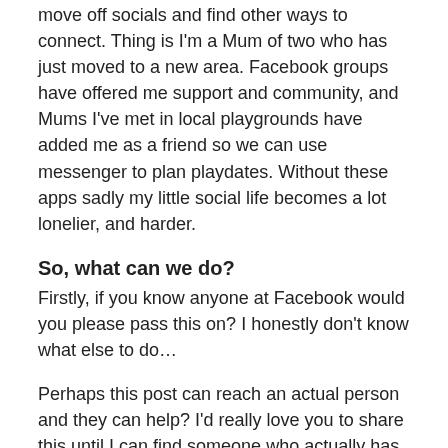move off socials and find other ways to connect. Thing is I'm a Mum of two who has just moved to a new area. Facebook groups have offered me support and community, and Mums I've met in local playgrounds have added me as a friend so we can use messenger to plan playdates. Without these apps sadly my little social life becomes a lot lonelier, and harder.
So, what can we do?
Firstly, if you know anyone at Facebook would you please pass this on? I honestly don't know what else to do…
Perhaps this post can reach an actual person and they can help? I'd really love you to share this until I can find someone who actually has a face and a name and the ability to figure this out.
Second - go set up two factor authentication on all your accounts if you haven't already. I feel like a prize idiot for